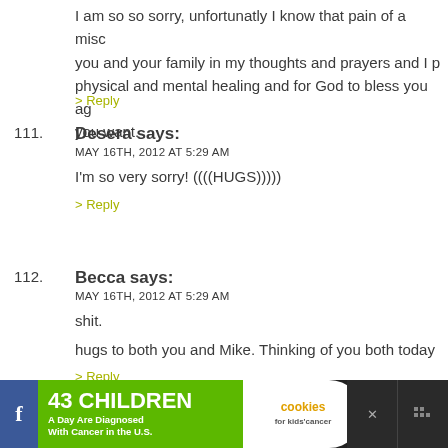I am so so sorry, unfortunatly I know that pain of a misco
you and your family in my thoughts and prayers and I p
physical and mental healing and for God to bless you ag
you want.
> Reply
111. Desera says:
MAY 16TH, 2012 AT 5:29 AM
I'm so very sorry! ((((HUGS)))))
> Reply
112. Becca says:
MAY 16TH, 2012 AT 5:29 AM
shit.
hugs to both you and Mike. Thinking of you both today
> Reply
113. Merrilee says:
[Figure (screenshot): Advertisement banner: '43 CHILDREN A Day Are Diagnosed With Cancer in the U.S.' with cookies for kids cancer and Let's Get Baking promotional ad]